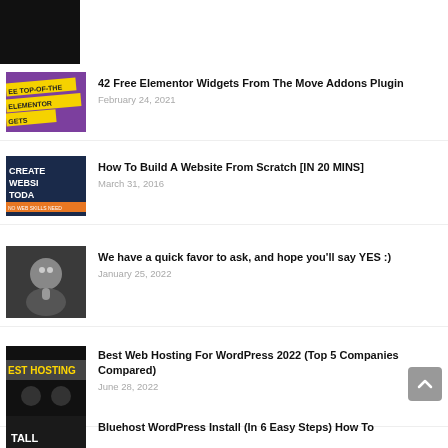[Figure (screenshot): Thumbnail for 42 Free Elementor Widgets article - yellow/purple design with text TOP-OF-THE ELEMENTOR WIDGETS]
42 Free Elementor Widgets From The Move Addons Plugin
February 24, 2021
[Figure (screenshot): Thumbnail for How To Build A Website From Scratch article - dark blue with CREATE WEBSI TODAY text]
How To Build A Website From Scratch [IN 20 MINS]
March 31, 2016
[Figure (photo): Photo of a person with glasses and a microphone]
We have a quick favor to ask, and hope you'll say YES :)
January 25, 2022
[Figure (screenshot): Thumbnail for Best Web Hosting article - EST HOSTING text visible]
Best Web Hosting For WordPress 2022 (Top 5 Companies Compared)
June 28, 2022
[Figure (screenshot): Partial thumbnail for Bluehost WordPress Install article]
Bluehost WordPress Install (In 6 Easy Steps) How To